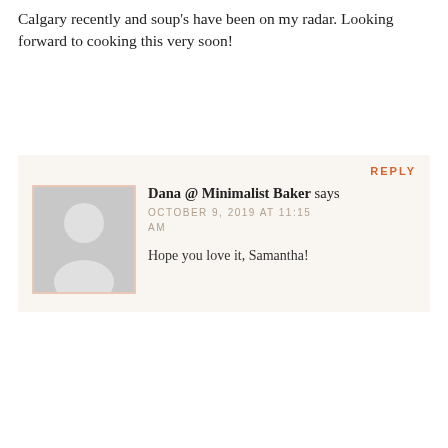Calgary recently and soup's have been on my radar. Looking forward to cooking this very soon!
REPLY
Dana @ Minimalist Baker says
OCTOBER 9, 2019 AT 11:15 AM
Hope you love it, Samantha!
SEARCH MINIMALIST BAKER
[Figure (other): Ad banner for BitLife - Life Simulator with Install button]